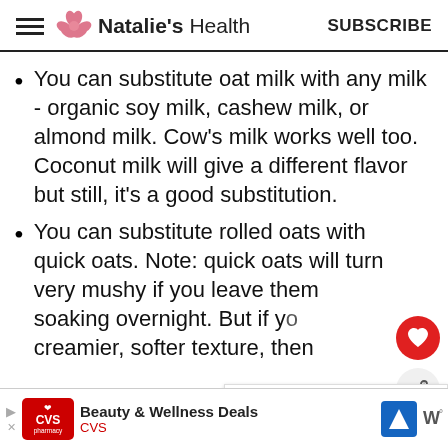Natalie's Health | SUBSCRIBE
You can substitute oat milk with any milk - organic soy milk, cashew milk, or almond milk. Cow's milk works well too. Coconut milk will give a different flavor but still, it's a good substitution.
You can substitute rolled oats with quick oats. Note: quick oats will turn very mushy if you leave them soaking overnight. But if yo creamier, softer texture, then